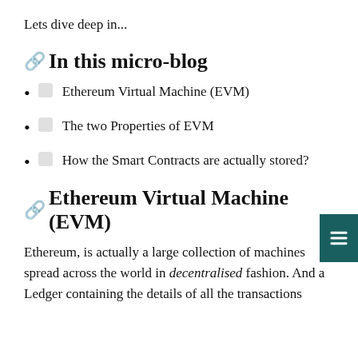Lets dive deep in...
🔗In this micro-blog
Ethereum Virtual Machine (EVM)
The two Properties of EVM
How the Smart Contracts are actually stored?
🔗Ethereum Virtual Machine (EVM)
Ethereum, is actually a large collection of machines spread across the world in decentralised fashion. And a Ledger containing the details of all the transactions